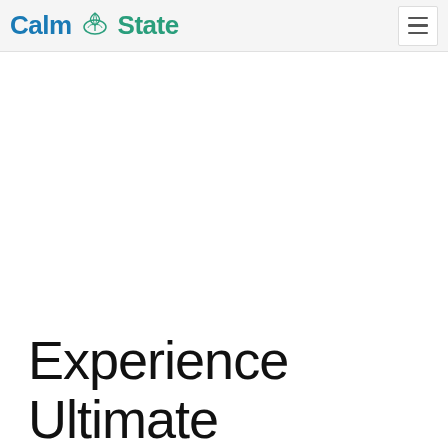Calm State
Experience Ultimate